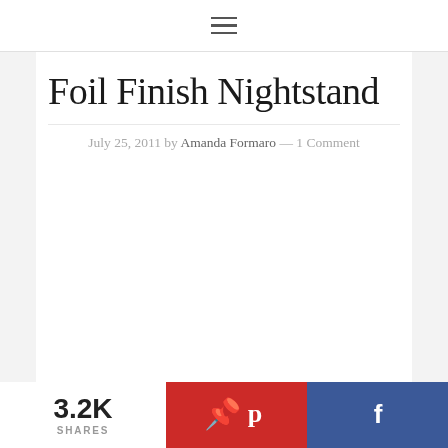≡
Foil Finish Nightstand
July 25, 2011 by Amanda Formaro — 1 Comment
3.2K SHARES  [Pinterest share button]  [Facebook share button]